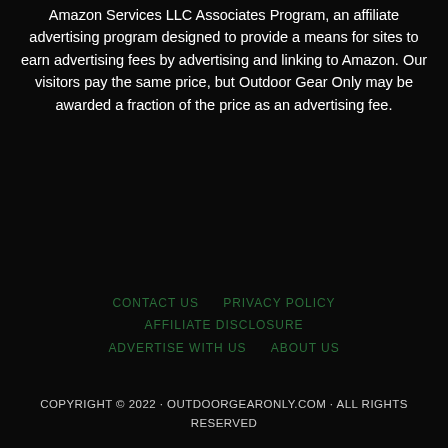Amazon Services LLC Associates Program, an affiliate advertising program designed to provide a means for sites to earn advertising fees by advertising and linking to Amazon. Our visitors pay the same price, but Outdoor Gear Only may be awarded a fraction of the price as an advertising fee.
CONTACT US   PRIVACY POLICY   AFFILIATE DISCLOSURE   ADVERTISE WITH US   ABOUT US
COPYRIGHT © 2022 · OUTDOORGEARONLY.COM · ALL RIGHTS RESERVED